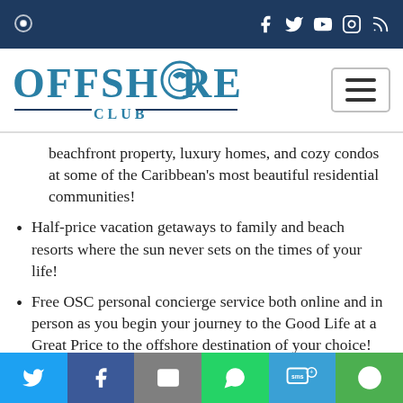Offshore Club — navigation bar with social icons (Facebook, Twitter, YouTube, Instagram, RSS)
[Figure (logo): Offshore Club logo — large teal text 'OFFSHORE CLUB' with a wave/swirl graphic in the O, dark navy decorative lines flanking 'CLUB']
beachfront property, luxury homes, and cozy condos at some of the Caribbean's most beautiful residential communities!
Half-price vacation getaways to family and beach resorts where the sun never sets on the times of your life!
Free OSC personal concierge service both online and in person as you begin your journey to the Good Life at a Great Price to the offshore destination of your choice!
Share bar: Twitter, Facebook, Email, WhatsApp, SMS, More